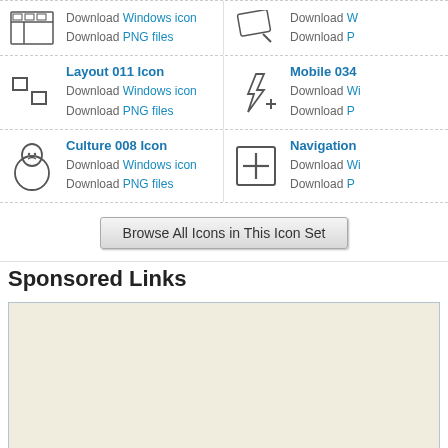[Figure (illustration): Icon entry row: Layout icon (grid/window) with download links]
Download Windows icon
Download PNG files
[Figure (illustration): Icon entry: Mobile 034 icon (lightning bolt plus) with download links]
Download Windows icon
Download PNG files
[Figure (illustration): Layout 011 Icon - bracket/corner icon]
Download Windows icon
Download PNG files
[Figure (illustration): Mobile 034 icon - lightning and plus symbol]
Download Windows icon
Download PNG files
[Figure (illustration): Culture 008 Icon - matryoshka/egg sad face]
Download Windows icon
Download PNG files
[Figure (illustration): Navigation icon - box with plus]
Download Windows icon
Download PNG files
Browse All Icons in This Icon Set
Sponsored Links
[Figure (other): Advertisement/sponsored links beige box]